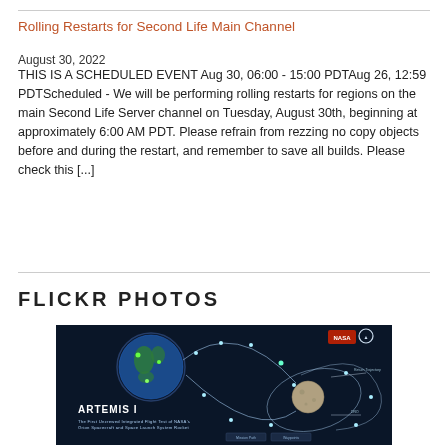Rolling Restarts for Second Life Main Channel
August 30, 2022
THIS IS A SCHEDULED EVENT Aug 30, 06:00 - 15:00 PDTAug 26, 12:59 PDTScheduled - We will be performing rolling restarts for regions on the main Second Life Server channel on Tuesday, August 30th, beginning at approximately 6:00 AM PDT. Please refrain from rezzing no copy objects before and during the restart, and remember to save all builds. Please check this [...]
FLICKR PHOTOS
[Figure (infographic): NASA Artemis I mission infographic showing the trajectory of the Orion spacecraft and Space Launch System rocket around Earth and the Moon, with orbital path annotations, logos, and mission details on a dark blue background.]